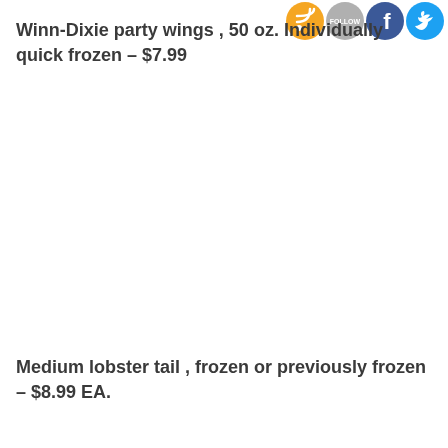[Figure (infographic): Social media icons row: RSS (orange), FOLLOW (grey), Facebook (blue), Twitter (light blue)]
Winn-Dixie party wings , 50 oz. Individually quick frozen – $7.99
Medium lobster tail , frozen or previously frozen – $8.99 EA.